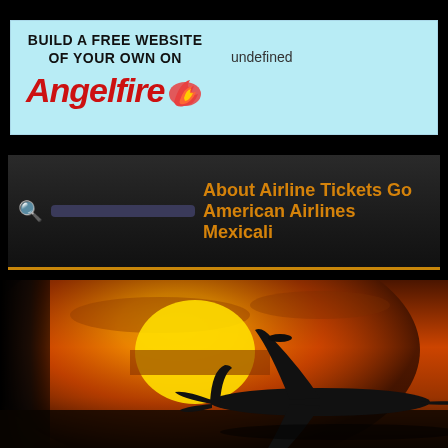[Figure (screenshot): Angelfire banner ad with light blue background. Text: BUILD A FREE WEBSITE OF YOUR OWN ON, with Angelfire logo in red italic with flame icon. 'undefined' text appears top right of banner.]
About Airline Tickets Go American Airlines Mexicali
[Figure (illustration): Silhouette of a commercial airplane taking off against a dramatic orange sunset sky with a large yellow sun in the background. Dark vignette on the left edge.]